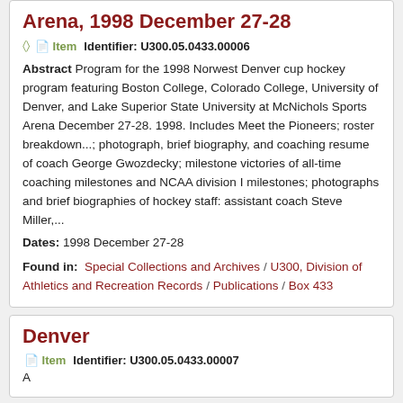Arena, 1998 December 27-28
Item   Identifier: U300.05.0433.00006
Abstract Program for the 1998 Norwest Denver cup hockey program featuring Boston College, Colorado College, University of Denver, and Lake Superior State University at McNichols Sports Arena December 27-28. 1998. Includes Meet the Pioneers; roster breakdown...; photograph, brief biography, and coaching resume of coach George Gwozdecky; milestone victories of all-time coaching milestones and NCAA division I milestones; photographs and brief biographies of hockey staff: assistant coach Steve Miller,...
Dates: 1998 December 27-28
Found in: Special Collections and Archives / U300, Division of Athletics and Recreation Records / Publications / Box 433
Denver
Item   Identifier: U300.05.0433.00007